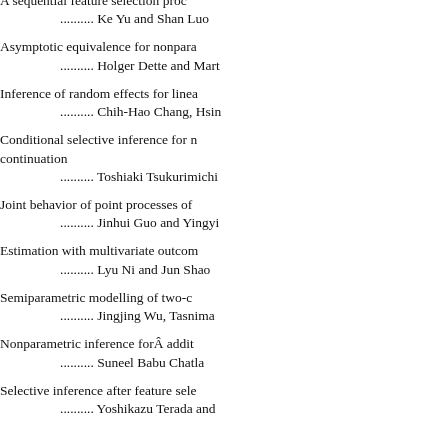A sequential feature selection proc.......... Ke Yu and Shan Luo
Asymptotic equivalence for nonpara.......... Holger Dette and Mart
Inference of random effects for linea.......... Chih-Hao Chang, Hsin
Conditional selective inference for n continuation.......... Toshiaki Tsukurimichi
Joint behavior of point processes of.......... Jinhui Guo and Yingyi
Estimation with multivariate outcom.......... Lyu Ni and Jun Shao
Semiparametric modelling of two-c.......... Jingjing Wu, Tasnima
Nonparametric inference forÂ addit.......... Suneel Babu Chatla
Selective inference after feature sele.......... Yoshikazu Terada and